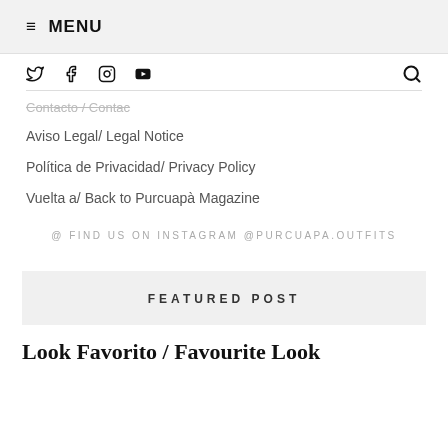≡ MENU
[Figure (other): Social media icons: Twitter, Facebook, Instagram, YouTube, and a search icon]
Contacto / Contac (strikethrough)
Aviso Legal/ Legal Notice
Política de Privacidad/ Privacy Policy
Vuelta a/ Back to Purcuapà Magazine
@ FIND US ON INSTAGRAM @PURCUAPA.OUTFITS
FEATURED POST
Look Favorito / Favourite Look